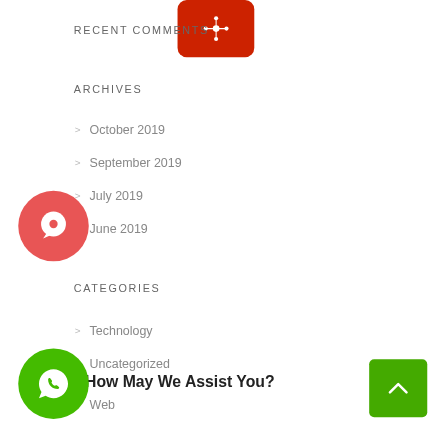RECENT COMMENTS
[Figure (logo): Red rounded square icon with white sun/network node symbol]
ARCHIVES
October 2019
September 2019
July 2019
June 2019
[Figure (logo): Red circle with white chat bubble and smiley icon]
CATEGORIES
Technology
Uncategorized
Web
[Figure (logo): Green circle with white WhatsApp phone icon]
How May We Assist You?
[Figure (other): Green scroll-to-top button with up arrow, partially visible at bottom right]